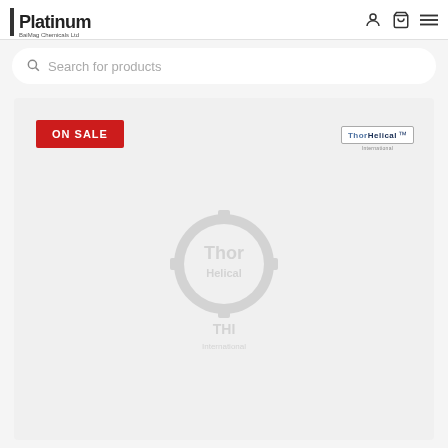[Figure (screenshot): Website header with Platinum BaiMag Chemicals Ltd logo on the left, and user/cart/menu icons on the right]
Search for products
[Figure (screenshot): Product card area with ON SALE red badge top left, ThorHelical International logo top right, and a faint watermark product image in the center]
ON SALE
[Figure (logo): ThorHelical International logo]